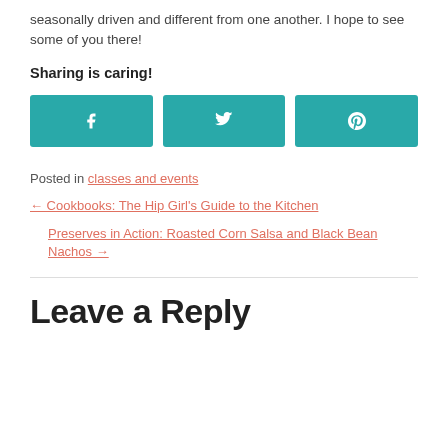seasonally driven and different from one another. I hope to see some of you there!
Sharing is caring!
[Figure (infographic): Three teal social share buttons: Facebook (f icon), Twitter (bird icon), Pinterest (p icon)]
Posted in classes and events
← Cookbooks: The Hip Girl's Guide to the Kitchen
Preserves in Action: Roasted Corn Salsa and Black Bean Nachos →
Leave a Reply